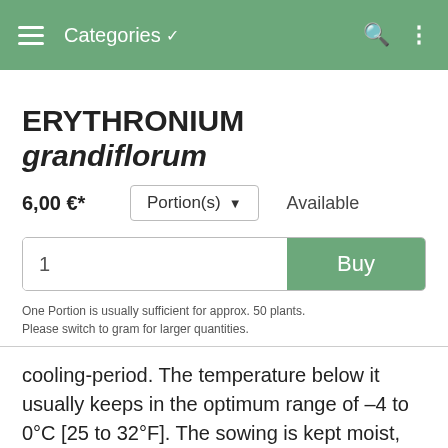Categories  Available
ERYTHRONIUM grandiflorum
6,00 €*   Portion(s)   Available
1   Buy
One Portion is usually sufficient for approx. 50 plants.
Please switch to gram for larger quantities.
cooling-period. The temperature below it usually keeps in the optimum range of –4 to 0°C [25 to 32°F]. The sowing is kept moist, and the melting snow helps to destroy the shell, which is advantageous for the germinating seedling. After this cooling-period the sowing may not be immediately exposed to high temperatures. The most effective temperatures are between +5 to +12°C [41 to 54°F], even if germination has started. The best location for this sowing, even in March, April and May, is the open